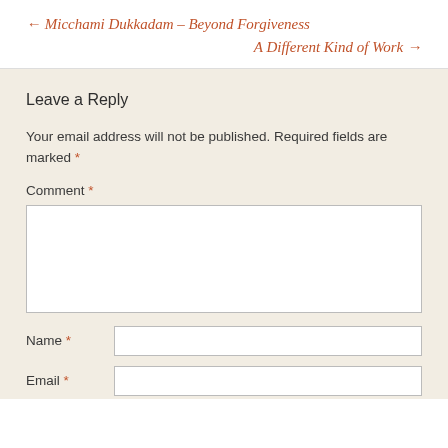← Micchami Dukkadam – Beyond Forgiveness
A Different Kind of Work →
Leave a Reply
Your email address will not be published. Required fields are marked *
Comment *
Name *
Email *